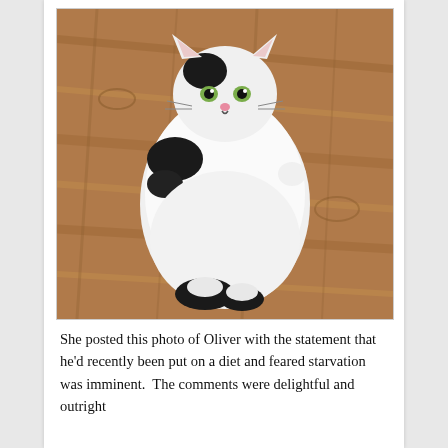[Figure (photo): A very large, round, overweight black and white cat named Oliver sitting upright on a wooden floor, viewed from above. The cat has a black spot on its head, black paws, and a mostly white fluffy body. It appears to be looking up at the camera.]
She posted this photo of Oliver with the statement that he'd recently been put on a diet and feared starvation was imminent.  The comments were delightful and outright